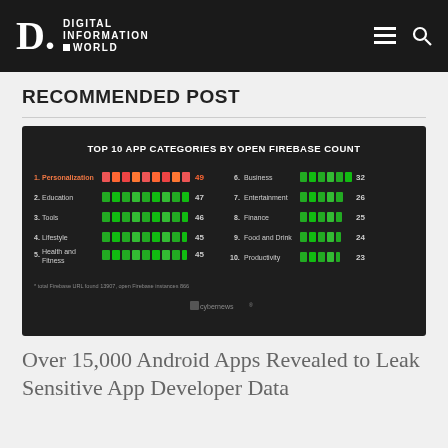DIGITAL INFORMATION WORLD
RECOMMENDED POST
[Figure (bar-chart): TOP 10 APP CATEGORIES BY OPEN FIREBASE COUNT]
Over 15,000 Android Apps Revealed to Leak Sensitive App Developer Data